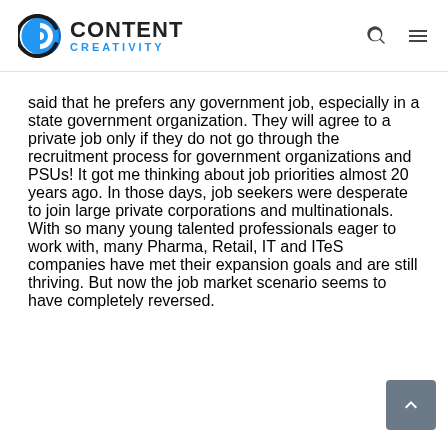CONTENT CREATIVITY
said that he prefers any government job, especially in a state government organization. They will agree to a private job only if they do not go through the recruitment process for government organizations and PSUs! It got me thinking about job priorities almost 20 years ago. In those days, job seekers were desperate to join large private corporations and multinationals. With so many young talented professionals eager to work with, many Pharma, Retail, IT and ITeS companies have met their expansion goals and are still thriving. But now the job market scenario seems to have completely reversed.